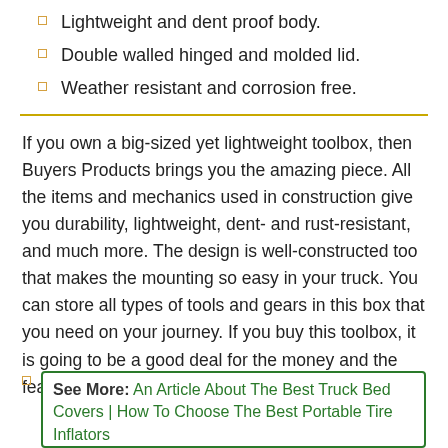Lightweight and dent proof body.
Double walled hinged and molded lid.
Weather resistant and corrosion free.
If you own a big-sized yet lightweight toolbox, then Buyers Products brings you the amazing piece. All the items and mechanics used in construction give you durability, lightweight, dent- and rust-resistant, and much more. The design is well-constructed too that makes the mounting so easy in your truck. You can store all types of tools and gears in this box that you need on your journey. If you buy this toolbox, it is going to be a good deal for the money and the features as well.
See More: An Article About The Best Truck Bed Covers | How To Choose The Best Portable Tire Inflators